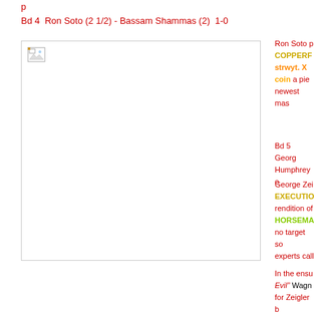Bd 4  Ron Soto (2 1/2) - Bassam Shammas (2)  1-0
[Figure (photo): A broken/missing image placeholder icon in the top-left corner of a white bordered rectangle]
Ron Soto p COPPERF strwyt. 3 coin a pie newest mas
Bd 5  Georg Humphrey o
George Zei EXECUTIO rendition of HORSEMA no target so experts call
In the ensu Evil" Wagn for Zeigler b (eh..Carey